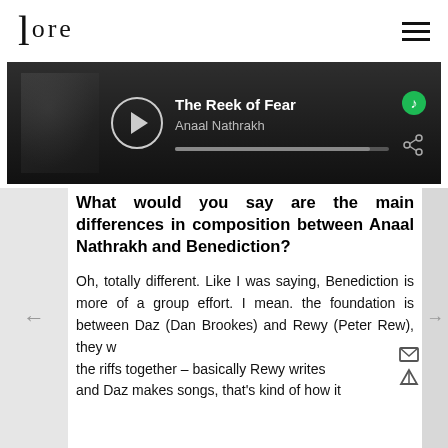lore
[Figure (screenshot): Spotify player showing 'The Reek of Fear' by Anaal Nathrakh with album art, play button, and progress bar]
What would you say are the main differences in composition between Anaal Nathrakh and Benediction?
Oh, totally different. Like I was saying, Benediction is more of a group effort. I mean. the foundation is between Daz (Dan Brookes) and Rewy (Peter Rew), they write the riffs together – basically Rewy writes and Daz makes songs, that's kind of how it